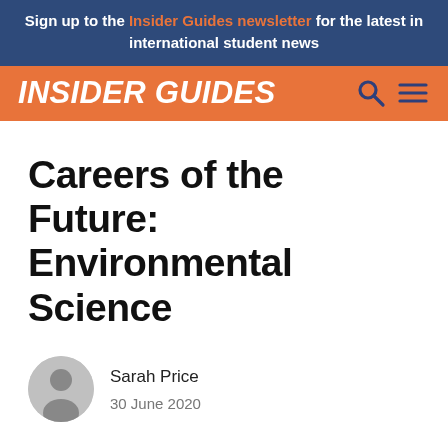Sign up to the Insider Guides newsletter for the latest in international student news
[Figure (logo): Insider Guides logo with search and menu icons on orange background]
Careers of the Future: Environmental Science
Sarah Price
30 June 2020